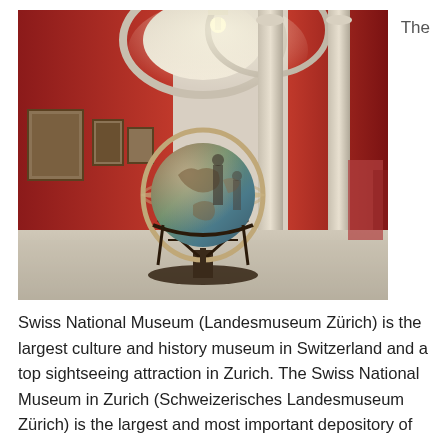The
[Figure (photo): Interior of the Swiss National Museum (Landesmuseum Zürich) showing a large ornate globe on a stand in the foreground, with red walls hung with paintings on the left, tall stone columns on the right, and museum visitors and artifacts visible in the background under arched ceilings.]
Swiss National Museum (Landesmuseum Zürich) is the largest culture and history museum in Switzerland and a top sightseeing attraction in Zurich. The Swiss National Museum in Zurich (Schweizerisches Landesmuseum Zürich) is the largest and most important depository of